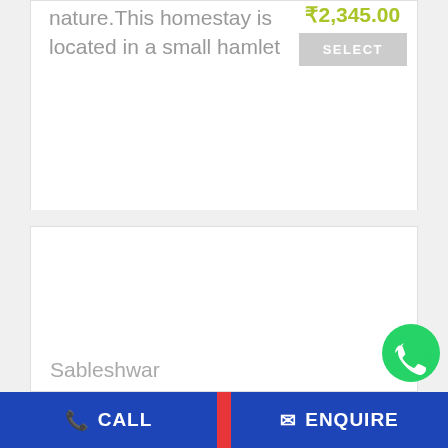nature.This homestay is located in a small hamlet
₹2,345.00
SELECT
[Figure (other): Large white content card area (image/map placeholder)]
Sableshwar
[Figure (other): WhatsApp green circle button icon]
CALL
ENQUIRE